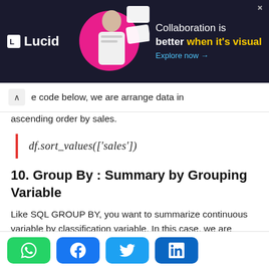[Figure (illustration): Lucid advertisement banner with dark background. Shows Lucid logo on left, illustrated person with pink circle and floating white cards in center, and text 'Collaboration is better when it's visual' with 'Explore now →' link on right.]
e code below, we are arrange data in ascending order by sales.
10. Group By : Summary by Grouping Variable
Like SQL GROUP BY, you want to summarize continuous variable by classification variable. In this case, we are calculating average sale and cost